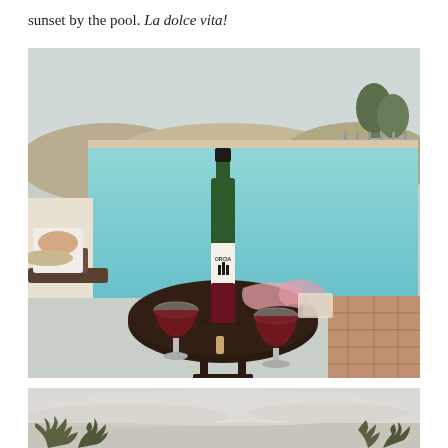sunset by the pool. La dolce vita!
[Figure (photo): A wine bottle labeled 'Orcia' with two glasses of red wine and a cork on a round dark wicker table beside a swimming pool. A person relaxing on a lounge chair is partially visible on the left. Hilly Tuscan landscape visible in the background beyond the pool. Pink tissue paper and wrapped items on the table.]
[Figure (photo): Partial view of a pale hazy sky at sunset with silhouettes of plants/bushes at the bottom edge.]